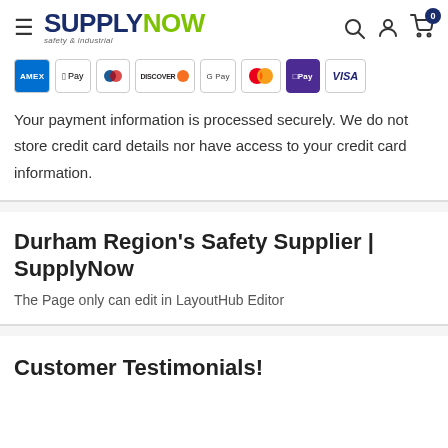SUPPLYNOW safety & industrial
[Figure (logo): SupplyNow safety & industrial logo with hamburger menu icon and header navigation icons (search, account, cart with badge 0)]
[Figure (infographic): Payment method icons: AMEX, Apple Pay, Diners Club, Discover, Google Pay, Mastercard, Shop Pay, Visa]
Your payment information is processed securely. We do not store credit card details nor have access to your credit card information.
Durham Region's Safety Supplier | SupplyNow
The Page only can edit in LayoutHub Editor
Customer Testimonials!